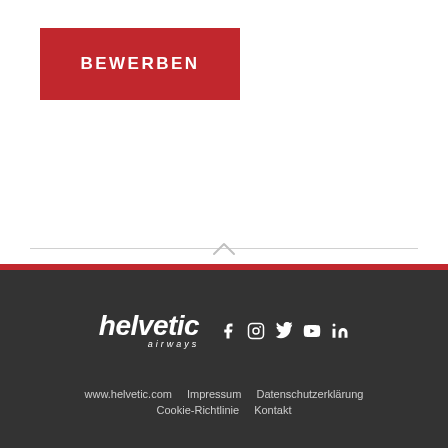BEWERBEN
[Figure (logo): Helvetic Airways logo with social media icons (Facebook, Instagram, Twitter, YouTube, LinkedIn)]
www.helvetic.com  Impressum  Datenschutzerklärung  Cookie-Richtlinie  Kontakt